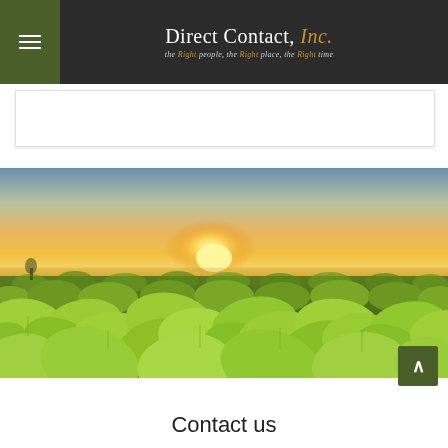Direct Contact, Inc. — the Right people, the Right place, the Right time
[Figure (photo): Agricultural field of green soybean plants stretching to the horizon under a golden sunset sky]
Contact us